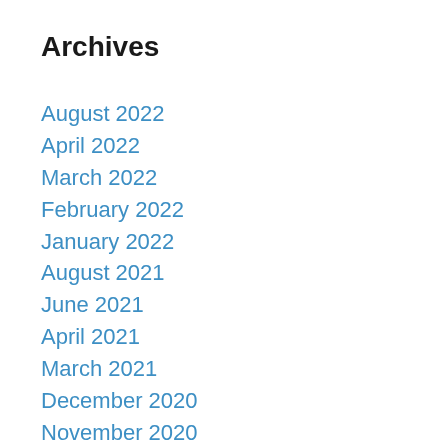Archives
August 2022
April 2022
March 2022
February 2022
January 2022
August 2021
June 2021
April 2021
March 2021
December 2020
November 2020
October 2020